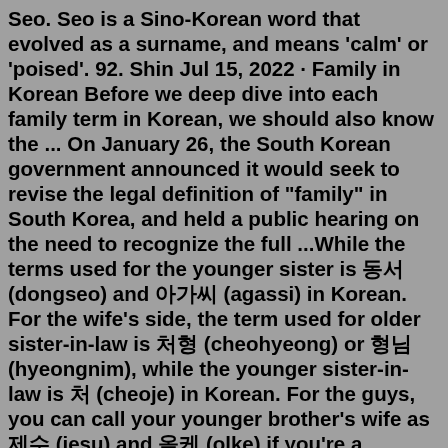Seo. Seo is a Sino-Korean word that evolved as a surname, and means 'calm' or 'poised'. 92. Shin Jul 15, 2022 · Family in Korean Before we deep dive into each family term in Korean, we should also know the ... On January 26, the South Korean government announced it would seek to revise the legal definition of "family" in South Korea, and held a public hearing on the need to recognize the full ...While the terms used for the younger sister is 동서 (dongseo) and 아가씨 (agassi) in Korean. For the wife's side, the term used for older sister-in-law is 처형 (cheohyeong) or 형님 (hyeongnim), while the younger sister-in-law is 처제 (cheoje) in Korean. For the guys, you can call your younger brother's wife as 제수 (jesu) and 올케 (olke) if you're a girl.Park or Bak (박, Korean pronunciation: ), is the third-most-common surname in Korea, traditionally traced back to King Hyeokgeose Park (혁거세 박) and theoretically inclusive of all of his descendants. Park or Bak is usually assumed to come from the Korean noun Bak (), meaning "gourd". As of the South Korean census of 2015, there were 4,192,074...